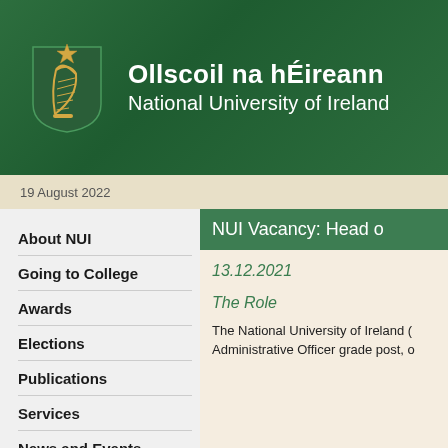[Figure (logo): National University of Ireland logo with shield, harp and star, on dark green background with text 'Ollscoil na hÉireann National University of Ireland']
19 August 2022
About NUI
Going to College
Awards
Elections
Publications
Services
News and Events
NUI Vacancy: Head o
13.12.2021
The Role
The National University of Ireland (Administrative Officer grade post, o